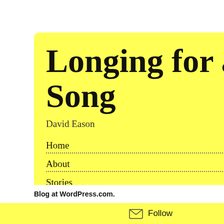[Figure (screenshot): WordPress blog sidebar widget showing a yellow speech bubble with blog title 'Longing for a Song' by David Eason, navigation links (Home, About, Stories, Scenes), RSS and search icons, and a black bar.]
Longing for a Song
David Eason
Home
About
Stories
Scenes
a closer fe been done again and a down whe and consol bolt and re scene is re sorrow unt but with he finally whe number on
Brown's e There is da to match h on stage. experience tomorrow. in that littl
Blog at WordPress.com.
Follow